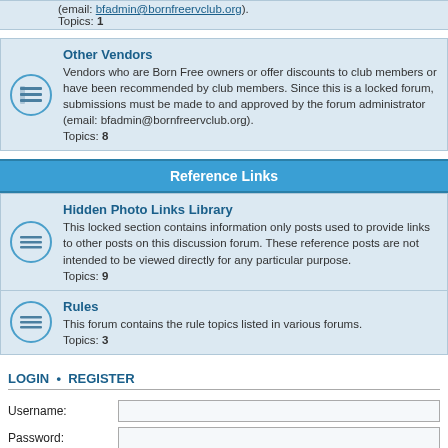(email: bfadmin@bornfreervclub.org). Topics: 1
Other Vendors
Vendors who are Born Free owners or offer discounts to club members or have been recommended by club members. Since this is a locked forum, submissions must be made to and approved by the forum administrator (email: bfadmin@bornfreervclub.org). Topics: 8
Reference Links
Hidden Photo Links Library
This locked section contains information only posts used to provide links to other posts on this discussion forum. These reference posts are not intended to be viewed directly for any particular purpose. Topics: 9
Rules
This forum contains the rule topics listed in various forums. Topics: 3
LOGIN • REGISTER
Username:
Password:
I forgot my password
Remember me
WHO IS ONLINE
In total there are 7 users online :: 1 registered, 0 hidden and 6 guests (based on users